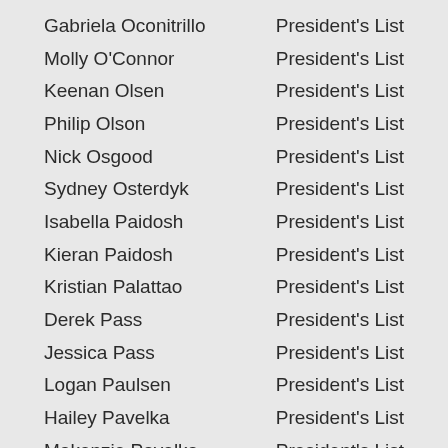Gabriela Oconitrillo — President's List
Molly O'Connor — President's List
Keenan Olsen — President's List
Philip Olson — President's List
Nick Osgood — President's List
Sydney Osterdyk — President's List
Isabella Paidosh — President's List
Kieran Paidosh — President's List
Kristian Palattao — President's List
Derek Pass — President's List
Jessica Pass — President's List
Logan Paulsen — President's List
Hailey Pavelka — President's List
Makenzie Pavelka — President's List
My-Linh Pavelka — President's List
Abigail Road Pawelek — President's List